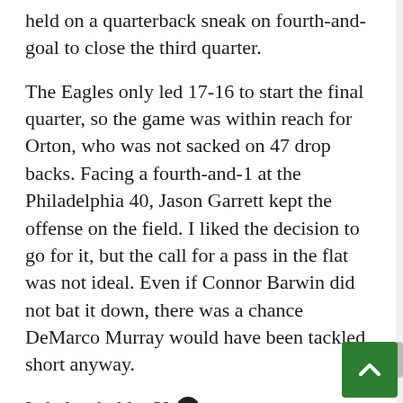held on a quarterback sneak on fourth-and-goal to close the third quarter.
The Eagles only led 17-16 to start the final quarter, so the game was within reach for Orton, who was not sacked on 47 drop backs. Facing a fourth-and-1 at the Philadelphia 40, Jason Garrett kept the offense on the field. I liked the decision to go for it, but the call for a pass in the flat was not ideal. Even if Connor Barwin did not bat it down, there was a chance DeMarco Murray would have been tackled short anyway.
[ad placeholder 3]
Philadelphia embarked on a great drive that used 5:37 on the clock. Chip Kelly's offense is known for scoring quickly, but it also has the ability to slow things down and grind away with rushing champion LeSean McCoy, who converted a pair of